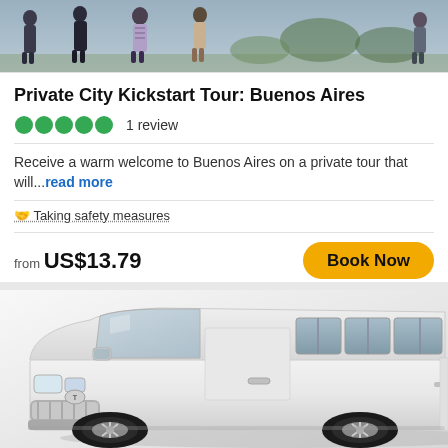[Figure (photo): Top banner photo showing people walking outdoors, partially cropped]
Private City Kickstart Tour: Buenos Aires
●●●●● 1 review
Receive a warm welcome to Buenos Aires on a private tour that will...read more
🤝 Taking safety measures
from US$13.79
[Figure (photo): White Toyota HiAce van / minibus on a white/light background, front-left 3/4 view]